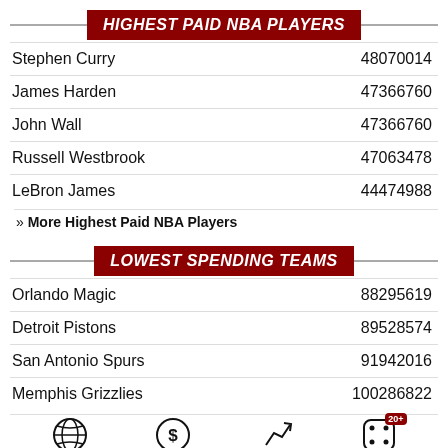HIGHEST PAID NBA PLAYERS
| Player | Amount |
| --- | --- |
| Stephen Curry | 48070014 |
| James Harden | 47366760 |
| John Wall | 47366760 |
| Russell Westbrook | 47063478 |
| LeBron James | 44474988 |
» More Highest Paid NBA Players
LOWEST SPENDING TEAMS
| Team | Amount |
| --- | --- |
| Orlando Magic | 88295619 |
| Detroit Pistons | 89528574 |
| San Antonio Spurs | 91942016 |
| Memphis Grizzlies | 100286822 |
NBA Live Betting | Promo Codes | Betting Apps | New Casinos 20+